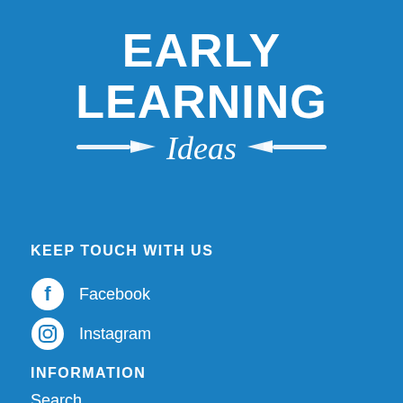EARLY LEARNING Ideas
KEEP TOUCH WITH US
Facebook
Instagram
INFORMATION
Search